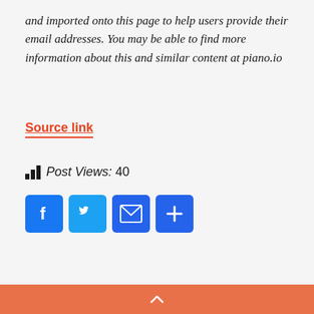and imported onto this page to help users provide their email addresses. You may be able to find more information about this and similar content at piano.io
Source link
Post Views: 40
[Figure (infographic): Social share buttons: Facebook, Twitter, Email, and More (plus icon)]
^